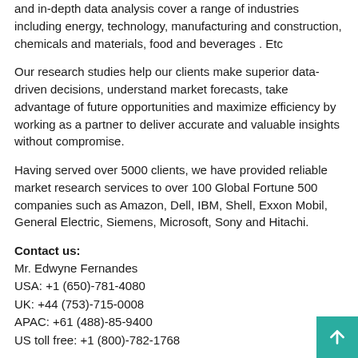and in-depth data analysis cover a range of industries including energy, technology, manufacturing and construction, chemicals and materials, food and beverages . Etc
Our research studies help our clients make superior data-driven decisions, understand market forecasts, take advantage of future opportunities and maximize efficiency by working as a partner to deliver accurate and valuable insights without compromise.
Having served over 5000 clients, we have provided reliable market research services to over 100 Global Fortune 500 companies such as Amazon, Dell, IBM, Shell, Exxon Mobil, General Electric, Siemens, Microsoft, Sony and Hitachi.
Contact us:
Mr. Edwyne Fernandes
USA: +1 (650)-781-4080
UK: +44 (753)-715-0008
APAC: +61 (488)-85-9400
US toll free: +1 (800)-782-1768